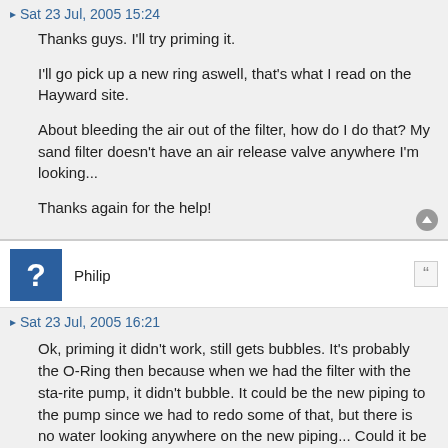Sat 23 Jul, 2005 15:24
Thanks guys. I'll try priming it.

I'll go pick up a new ring aswell, that's what I read on the Hayward site.

About bleeding the air out of the filter, how do I do that? My sand filter doesn't have an air release valve anywhere I'm looking...

Thanks again for the help!
Philip
Sat 23 Jul, 2005 16:21
Ok, priming it didn't work, still gets bubbles. It's probably the O-Ring then because when we had the filter with the sta-rite pump, it didn't bubble. It could be the new piping to the pump since we had to redo some of that, but there is no water looking anywhere on the new piping... Could it be the o-ring?